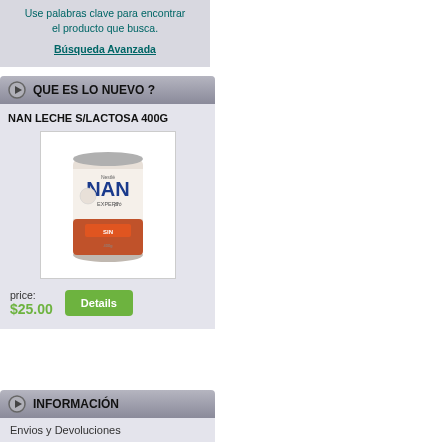Use palabras clave para encontrar el producto que busca. Búsqueda Avanzada
QUE ES LO NUEVO ?
NAN LECHE S/LACTOSA 400G
[Figure (photo): NAN ExpertPro Sin Lactosa 400g formula tin/can product photo]
price: $25.00
INFORMACIÓN
Envios y Devoluciones